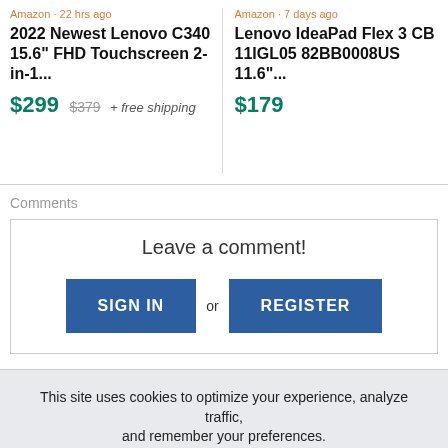Amazon · 22 hrs ago
2022 Newest Lenovo C340 15.6" FHD Touchscreen 2-in-1...
$299 $379 + free shipping
Amazon · 7 days ago
Lenovo IdeaPad Flex 3 CB 11IGL05 82BB0008US 11.6"...
$179
Comments
Leave a comment!
SIGN IN or REGISTER
This site uses cookies to optimize your experience, analyze traffic, and remember your preferences.
LEARN MORE
ACCEPT